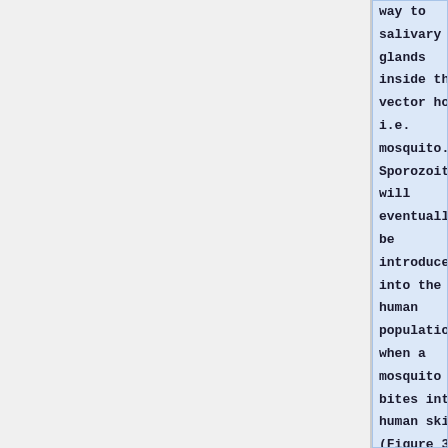way to salivary glands inside the vector host i.e. mosquito. Sporozoites will eventually be introduced into the human population when a mosquito bites into a human skin (Figure 3.). <br><br>